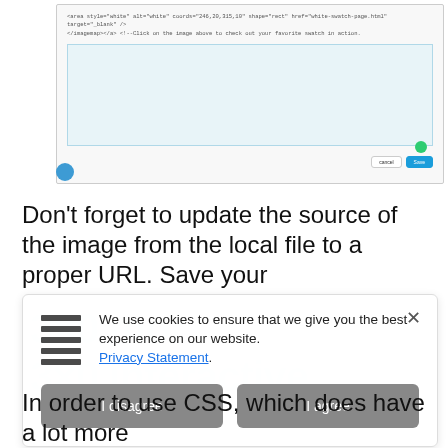[Figure (screenshot): A screenshot of a code editor or web page editor showing HTML code with an image tag and anchor tag referencing a local file, with a white body area and Cancel/Save buttons at the bottom. A small blue circle icon is visible in the lower left.]
Don't forget to update the source of the image from the local file to a proper URL. Save your
[Figure (screenshot): A cookie consent popup overlay with a hamburger/list icon on the left, text reading 'We use cookies to ensure that we give you the best experience on our website. Privacy Statement.' and two buttons: 'I disagree' and 'I agree', with an X close button in the top right. Behind the popup, faded watermark text is partially visible.]
In order to use CSS, which does have a lot more